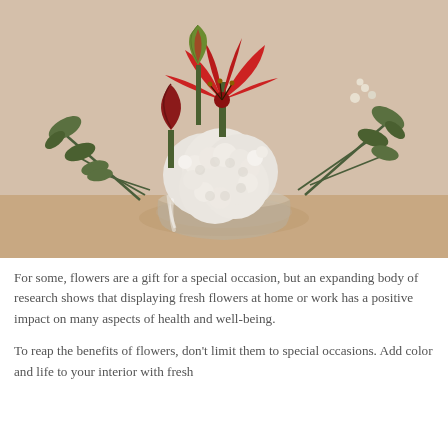[Figure (photo): A floral arrangement in a clear glass vase featuring white hydrangeas, a red lily in bloom, red tulip buds, and sprigs of green foliage, set against a warm beige background on a light wooden surface.]
For some, flowers are a gift for a special occasion, but an expanding body of research shows that displaying fresh flowers at home or work has a positive impact on many aspects of health and well-being.
To reap the benefits of flowers, don't limit them to special occasions. Add color and life to your interior with fresh